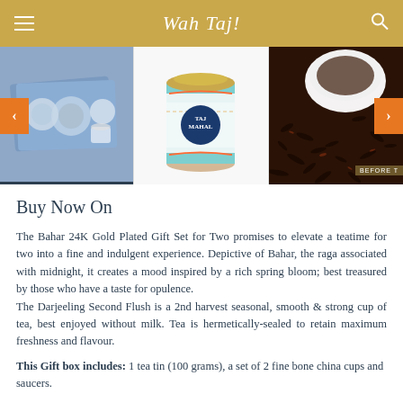Wah Taj!
[Figure (photo): Three-panel product image carousel: left panel shows a blue gift set with patterned cups and cards, middle panel shows a decorative Taj Mahal branded tea tin with gold lid, right panel shows loose dark tea leaves with a white bowl on a dark background. Left and right navigation arrows in orange.]
Buy Now On
The Bahar 24K Gold Plated Gift Set for Two promises to elevate a teatime for two into a fine and indulgent experience. Depictive of Bahar, the raga associated with midnight, it creates a mood inspired by a rich spring bloom; best treasured by those who have a taste for opulence.
The Darjeeling Second Flush is a 2nd harvest seasonal, smooth & strong cup of tea, best enjoyed without milk. Tea is hermetically-sealed to retain maximum freshness and flavour.
This Gift box includes: 1 tea tin (100 grams), a set of 2 fine bone china cups and saucers.